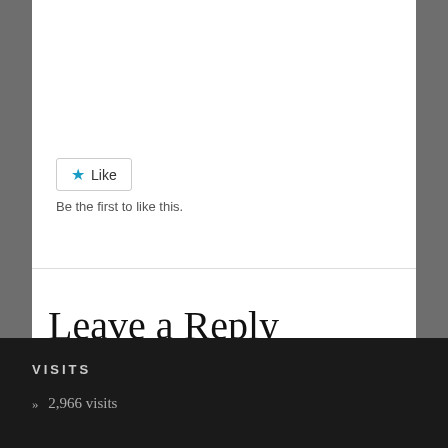[Figure (other): Like button widget — a star icon followed by the text 'Like' inside a rounded border]
Be the first to like this.
Leave a Reply
You must be logged in to post a comment.
VISITS
» 2,966 visits